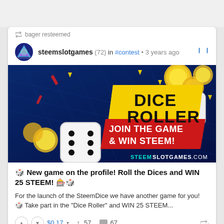bager resteemed
steemslotgames (72) in #contest • 3 years ago
[Figure (illustration): Promotional banner for Dice Roller game on STEEMSLOTGAMES.COM. Dark blue background with grid/hexagon pattern, dice, gold coins, confetti. Yellow banner text 'DICE ROLLER', red banner text 'JOIN THE GAME & WIN STEEM!']
🎲 New game on the profile! Roll the Dices and WIN 25 STEEM! 🎰🎲
For the launch of the SteemDice we have another game for you! 🎲 Take part in the "Dice Roller" and WIN 25 STEEM...
$0.17 ▾   57   67